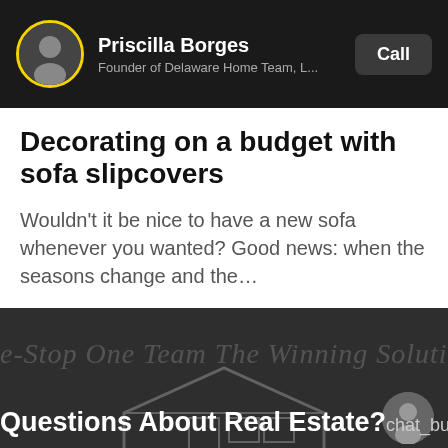Priscilla Borges — Founder of Delaware Home Team, L...
Decorating on a budget with sofa slipcovers
Wouldn't it be nice to have a new sofa whenever you wanted? Good news: when the seasons change and the…
[Figure (photo): Dark background section with cursive watermark text reading 'e-Stop One Team The Winning Solution' and a real estate themed illustration]
Questions About Real Estate?